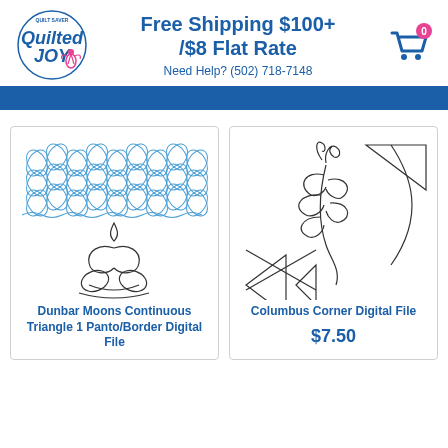[Figure (logo): Quilted Joy logo with fairy figure]
Free Shipping $100+ /$8 Flat Rate
Need Help? (502) 718-7148
[Figure (illustration): Dunbar Moons Continuous Triangle 1 Panto/Border quilting pattern - blue geometric repeating pattern on top, black outline fleur/moon design on bottom]
Dunbar Moons Continuous Triangle 1 Panto/Border Digital File
[Figure (illustration): Columbus Corner quilting pattern - black outline leaf/foliage with geometric corner arrow/triangle design]
Columbus Corner Digital File
$7.50